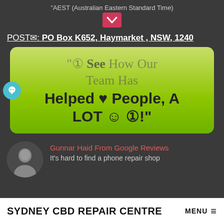"AEST (Australian Eastern Standard Time)
POST✉: PO Box K652, Haymarket , NSW, 1240
[Figure (infographic): Green gradient card with quote text: '① See How Our Team Has Helped ❤ People, A LOT ☺ ①!' with a teal chat bubble icon on the left side.]
Gunnar Haid From Google Reviews
It's hard to find a phone repair shop
SYDNEY CBD REPAIR CENTRE MENU ≡